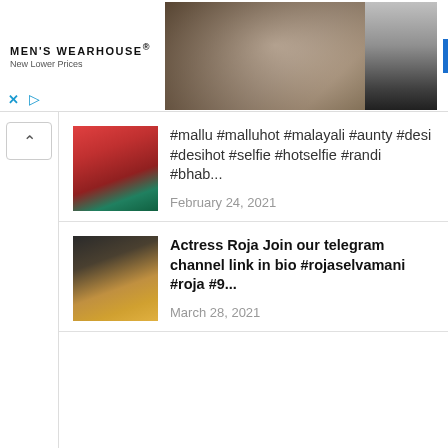[Figure (screenshot): Men's Wearhouse advertisement banner with logo on left, couple in formal wear in center, man in suit on right, blue INFO button]
[Figure (photo): Thumbnail photo of a woman in a red and teal saree]
#mallu #malluhot #malayali #aunty #desi #desihot #selfie #hotselfie #randi #bhab...
February 24, 2021
[Figure (photo): Thumbnail photo of actress Roja]
Actress Roja Join our telegram channel link in bio #rojaselvamani #roja #9...
March 28, 2021